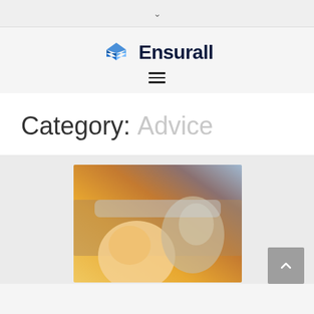v
[Figure (logo): Ensurall logo with blue shield/arrow icon and dark navy bold text]
Category: Advice
[Figure (photo): Photo of a smiling blonde woman in a car with a man in glasses looking at her, warm sunlit scene]